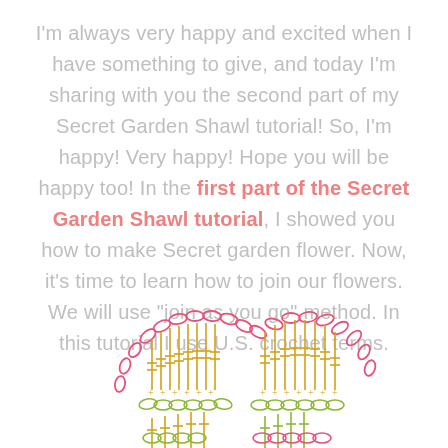I'm always very happy and excited when I have something to give, and today I'm sharing with you the second part of my Secret Garden Shawl tutorial! So, I'm happy! Very happy! Hope you will be happy too! In the first part of the Secret Garden Shawl tutorial, I showed you how to make Secret garden flower. Now, it's time to learn how to join our flowers. We will use "join as you go" method. In this tutorial I use U.S. crochet terms.
[Figure (illustration): Crochet stitch diagram showing two flower motifs partially visible at bottom, drawn in pink, yellow/gold, and green thread stitch lines on white background]